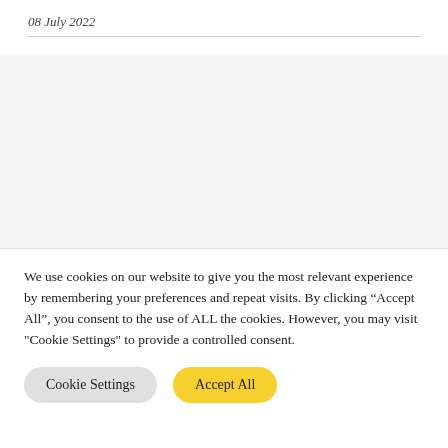08 July 2022
We use cookies on our website to give you the most relevant experience by remembering your preferences and repeat visits. By clicking “Accept All”, you consent to the use of ALL the cookies. However, you may visit "Cookie Settings" to provide a controlled consent.
Cookie Settings | Accept All